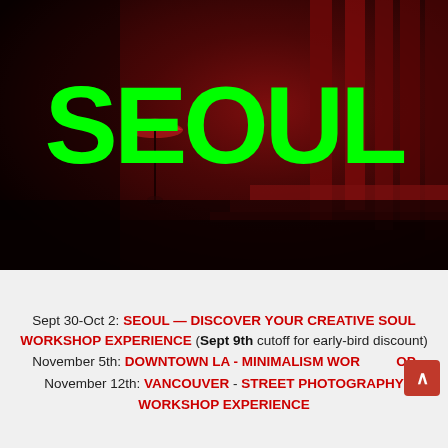[Figure (photo): Dark, high-contrast red-toned street photography image of a person with an umbrella walking past large architectural columns at night, with the word SEOUL overlaid in large bright green bold text]
Sept 30-Oct 2: SEOUL — DISCOVER YOUR CREATIVE SOUL WORKSHOP EXPERIENCE (Sept 9th cutoff for early-bird discount)
November 5th: DOWNTOWN LA - MINIMALISM WORKSHOP
November 12th: VANCOUVER - STREET PHOTOGRAPHY WORKSHOP EXPERIENCE